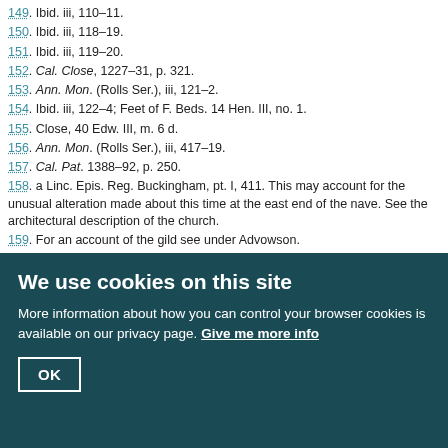149. Ibid. iii, 110–11.
150. Ibid. iii, 118–19.
151. Ibid. iii, 119–20.
152. Cal. Close, 1227–31, p. 321.
153. Ann. Mon. (Rolls Ser.), iii, 121–2.
154. Ibid. iii, 122–4; Feet of F. Beds. 14 Hen. III, no. 1.
155. Close, 40 Edw. III, m. 6 d.
156. Ann. Mon. (Rolls Ser.), iii, 417–19.
157. Cal. Pat. 1388–92, p. 250.
158. a Linc. Epis. Reg. Buckingham, pt. I, 411. This may account for the unusual alteration made about this time at the east end of the nave. See the architectural description of the church.
159. For an account of the gild see under Advowson.
160. Ann. Mon. (Rolls Ser.), iii, 173.
161. Ibid. 281.
162. Ibid. 396.
163. Pipe R. 25 Hen. II (Pipe R. Soc.), 77.
164. Ann. Mon. (Rolls Ser.), iii, 105.
165. Ibid. 417.
166. Harl. MS. 1885, fol. 79.
167. Ann. Mon. (Rolls Ser.), iii, 263, 267, 279, 364, 375.
168. Memo. R. (L.T.R.), Hil. 21 Ric. 11, m. 14.
We use cookies on this site
More information about how you can control your browser cookies is available on our privacy page. Give me more info
OK